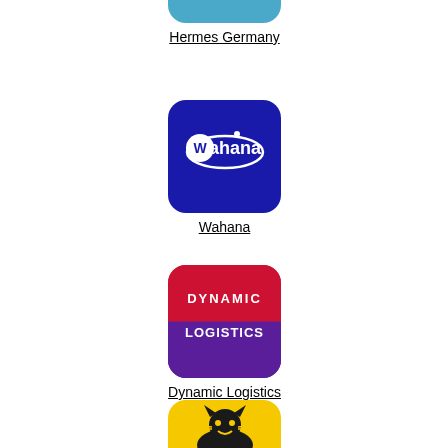[Figure (logo): Hermes Germany logo - blue rounded square with white shopping basket icon]
Hermes Germany
[Figure (logo): Wahana logo - dark blue rounded square with white Wahana text and orbit graphic]
Wahana
[Figure (logo): Dynamic Logistics logo - red and purple rounded square with white text DYNAMIC LOGISTICS]
Dynamic Logistics
[Figure (logo): Yellow rounded square logo with black cat mascot graphic - partial view at bottom]